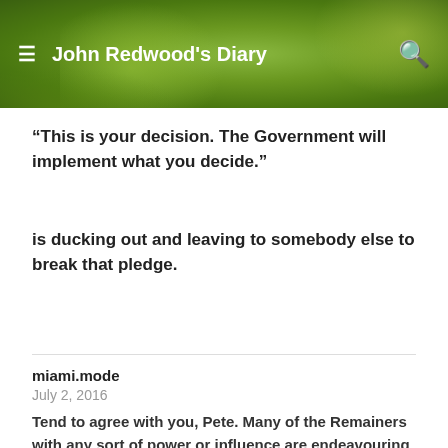John Redwood's Diary
“This is your decision. The Government will implement what you decide.”
is ducking out and leaving to somebody else to break that pledge.
miami.mode
July 2, 2016
Tend to agree with you, Pete. Many of the Remainers with any sort of power or influence are endeavouring to keep us in. In the newspapers there is talk of a stitch-up in the competition for PM in favour of Mrs May.